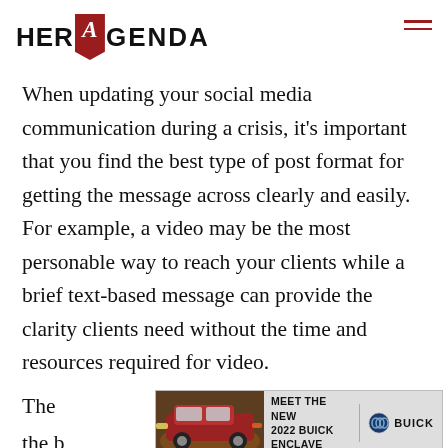HER AGENDA
When updating your social media communication during a crisis, it’s important that you find the best type of post format for getting the message across clearly and easily. For example, a video may be the most personable way to reach your clients while a brief text-based message can provide the clarity clients need without the time and resources required for video.
[Figure (other): Advertisement banner for Meet the New 2022 Buick Enclave showing a red SUV]
The … and, the b…